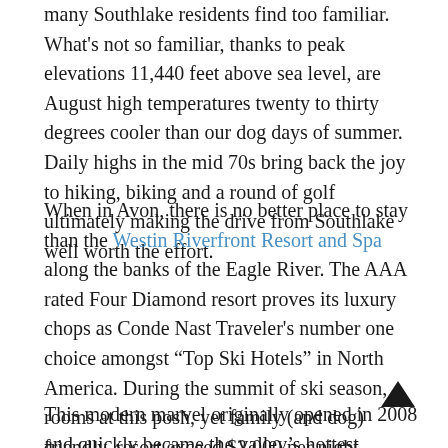many Southlake residents find too familiar. What's not so familiar, thanks to peak elevations 11,440 feet above sea level, are August high temperatures twenty to thirty degrees cooler than our dog days of summer. Daily highs in the mid 70s bring back the joy to hiking, biking and a round of golf ultimately making the drive from Southlake well worth the effort.
When in Avon, there is no better place to stay than the Westin Riverfront Resort and Spa along the banks of the Eagle River. The AAA rated Four Diamond resort proves its luxury chops as Conde Nast Traveler's number one choice amongst “Top Ski Hotels” in North America. During the summit of ski season, rooms at this posh, yet family (and dog) friendly, resort exceed $2,000 per night.
This modern marvel originally opened in 2008 and quickly became the valley’s hottest destination. Many of